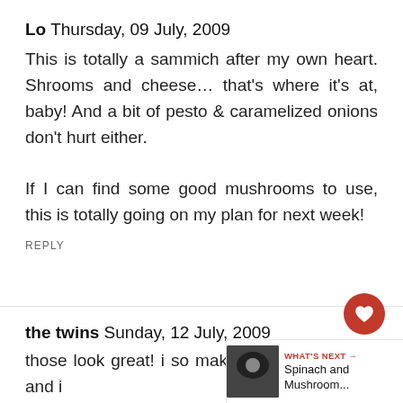Lo  Thursday, 09 July, 2009
This is totally a sammich after my own heart. Shrooms and cheese… that's where it's at, baby! And a bit of pesto & caramelized onions don't hurt either.

If I can find some good mushrooms to use, this is totally going on my plan for next week!
REPLY
the twins  Sunday, 12 July, 2009
those look great! i so make something similar and i
[Figure (infographic): WHAT'S NEXT arrow label in red with thumbnail image of Spinach and Mushroom... article]